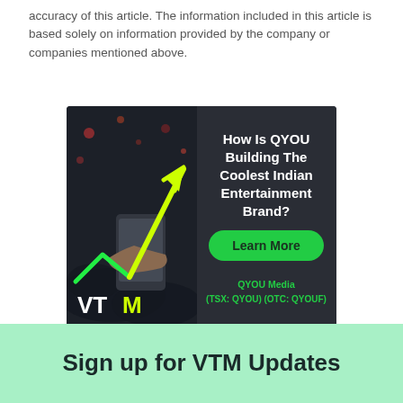accuracy of this article. The information included in this article is based solely on information provided by the company or companies mentioned above.
[Figure (infographic): Advertisement for QYOU Media with dark background, green arrow chart going up, person holding phone, VTM logo, text 'How Is QYOU Building The Coolest Indian Entertainment Brand?', green 'Learn More' button, and 'QYOU Media (TSX: QYOU) (OTC: QYOUF)' text.]
Sign up for VTM Updates